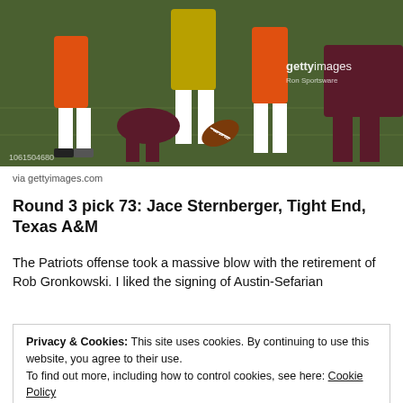[Figure (photo): Football game action photo showing players scrambling for the ball on the field, with Getty Images watermark visible in upper right corner. Image ID: 1061504680.]
via gettyimages.com
Round 3 pick 73: Jace Sternberger, Tight End, Texas A&M
The Patriots offense took a massive blow with the retirement of Rob Gronkowski. I liked the signing of Austin-Sefarian
Privacy & Cookies: This site uses cookies. By continuing to use this website, you agree to their use.
To find out more, including how to control cookies, see here: Cookie Policy
Close and accept